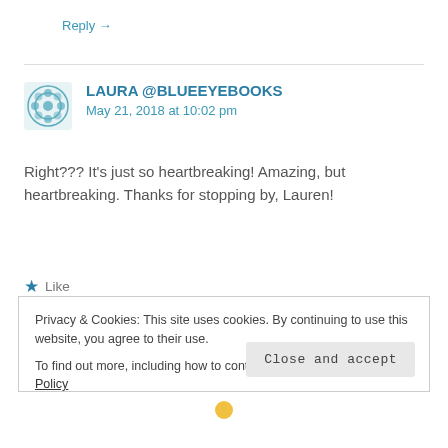Reply →
LAURA @BLUEEYEBOOKS
May 21, 2018 at 10:02 pm
Right??? It's just so heartbreaking! Amazing, but heartbreaking. Thanks for stopping by, Lauren!
★ Like
Reply →
Privacy & Cookies: This site uses cookies. By continuing to use this website, you agree to their use.
To find out more, including how to control cookies, see here: Cookie Policy
Close and accept